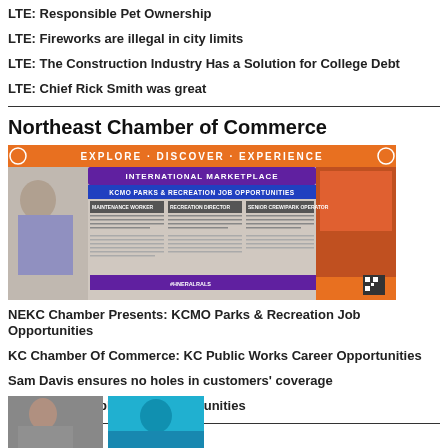LTE: Responsible Pet Ownership
LTE: Fireworks are illegal in city limits
LTE: The Construction Industry Has a Solution for College Debt
LTE: Chief Rick Smith was great
Northeast Chamber of Commerce
[Figure (screenshot): NEKC Chamber ad: Explore Discover Experience International Marketplace — KCMO Parks & Recreation Job Opportunities flyer with job listings and QR code]
NEKC Chamber Presents: KCMO Parks & Recreation Job Opportunities
KC Chamber Of Commerce: KC Public Works Career Opportunities
Sam Davis ensures no holes in customers' coverage
CID: KCPD Employment Opportunities
[Figure (photo): Partial photo at bottom of page showing two people]